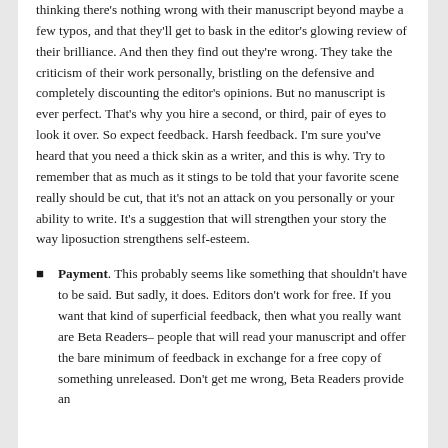thinking there's nothing wrong with their manuscript beyond maybe a few typos, and that they'll get to bask in the editor's glowing review of their brilliance. And then they find out they're wrong. They take the criticism of their work personally, bristling on the defensive and completely discounting the editor's opinions. But no manuscript is ever perfect. That's why you hire a second, or third, pair of eyes to look it over. So expect feedback. Harsh feedback. I'm sure you've heard that you need a thick skin as a writer, and this is why. Try to remember that as much as it stings to be told that your favorite scene really should be cut, that it's not an attack on you personally or your ability to write. It's a suggestion that will strengthen your story the way liposuction strengthens self-esteem.
Payment. This probably seems like something that shouldn't have to be said. But sadly, it does. Editors don't work for free. If you want that kind of superficial feedback, then what you really want are Beta Readers– people that will read your manuscript and offer the bare minimum of feedback in exchange for a free copy of something unreleased. Don't get me wrong, Beta Readers provide an